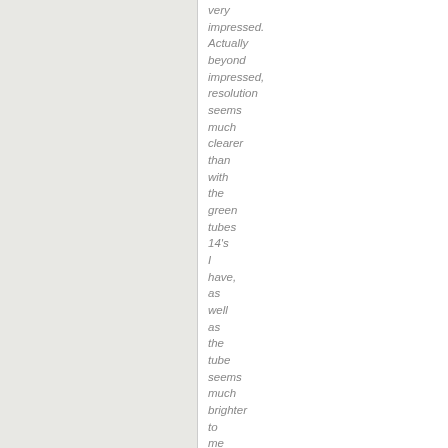very impressed. Actually beyond impressed, resolution seems much clearer than with the green tubes 14's I have, as well as the tube seems much brighter to me and I found myself turning the gain way down. I also noticed how much